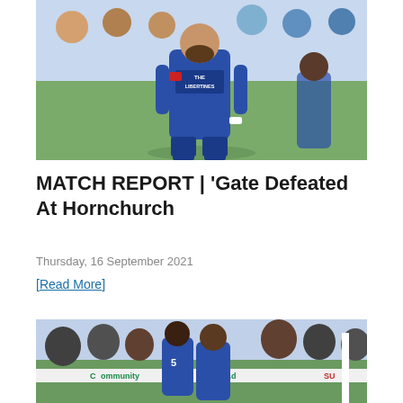[Figure (photo): Football player in blue kit with 'THE LIBERTINES' sponsor, looking downward on pitch]
MATCH REPORT | 'Gate Defeated At Hornchurch
Thursday, 16 September 2021
[Read More]
[Figure (photo): Football players in blue kit celebrating, with crowd and advertising boards visible including 'CommunityAd' and 'SUR']